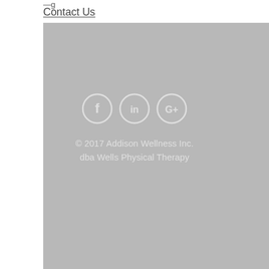—g
Contact Us
[Figure (illustration): Three social media icon circles: Facebook (f), LinkedIn (in), and Google+ (G+), rendered in white outlines on a gray background.]
© 2017 Addison Wellness Inc.
dba Wells Physical Therapy